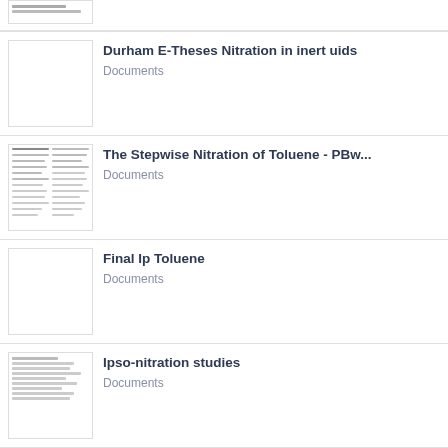Durham E-Theses Nitration in inert uids - Documents
The Stepwise Nitration of Toluene - PBw... - Documents
Final Ip Toluene - Documents
Ipso-nitration studies - Documents
Site-Specific Carboxypeptidase B1 Tyro... - Documents